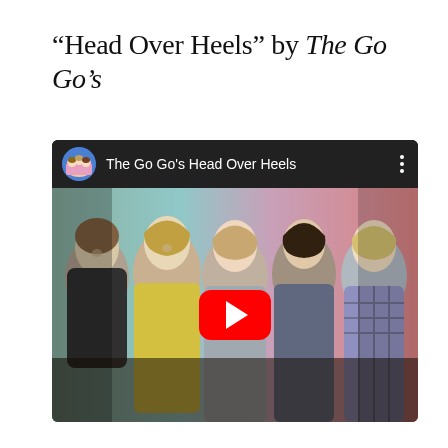“Head Over Heels” by The Go Go’s
[Figure (screenshot): YouTube video thumbnail for 'The Go Go's Head Over Heels' showing five women from the 1980s band The Go-Go's standing together against a colorful background. The video player interface shows the channel avatar (animated band illustration), video title, three-dot menu, and a large red YouTube play button in the center.]